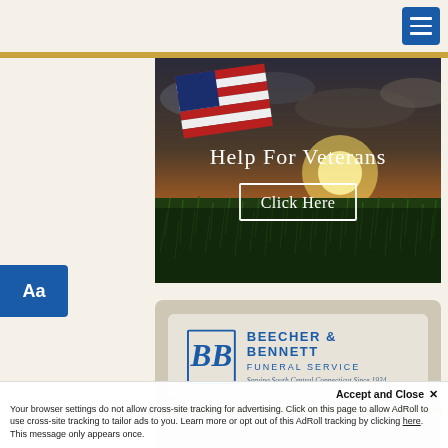[Figure (screenshot): Mobile website screenshot showing a hamburger menu button in top right on a beige background with a gold divider bar]
[Figure (photo): Hero image showing an American flag over a corn/grass field at sunset with the text 'Help For Veterans' and a 'Click Here' button overlay]
[Figure (logo): Beecher & Bennett Funeral Service logo with 'BB' monogram, text reading 'BEECHER & BENNETT FUNERAL SERVICE Serving South Central Connecticut Since 1934' on a beige card with gold accent bar]
Aa
Accept and Close X
Your browser settings do not allow cross-site tracking for advertising. Click on this page to allow AdRoll to use cross-site tracking to tailor ads to you. Learn more or opt out of this AdRoll tracking by clicking here. This message only appears once.